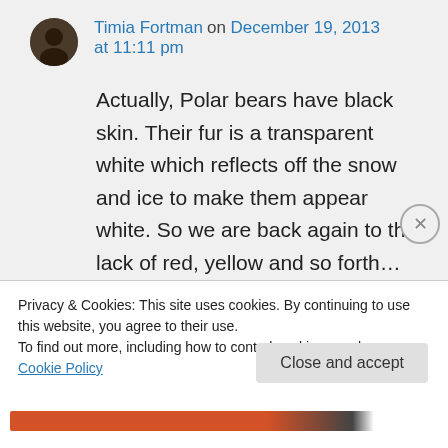Timia Fortman on December 19, 2013 at 11:11 pm
Actually, Polar bears have black skin. Their fur is a transparent white which reflects off the snow and ice to make them appear white. So we are back again to the lack of red, yellow and so forth...
Like
Privacy & Cookies: This site uses cookies. By continuing to use this website, you agree to their use.
To find out more, including how to control cookies, see here: Cookie Policy
Close and accept